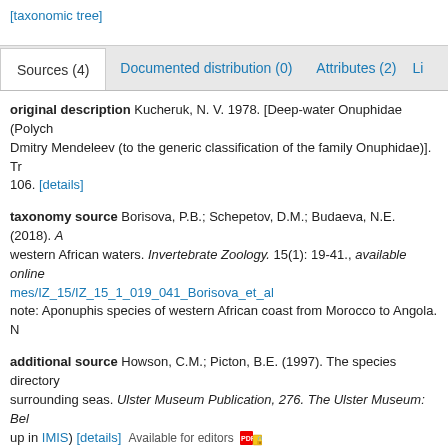[taxonomic tree]
Sources (4) | Documented distribution (0) | Attributes (2) | Li...
original description Kucheruk, N. V. 1978. [Deep-water Onuphidae (Polych... Dmitry Mendeleev (to the generic classification of the family Onuphidae)]. Tr... 106. [details]
taxonomy source Borisova, P.B.; Schepetov, D.M.; Budaeva, N.E. (2018). A... western African waters. Invertebrate Zoology. 15(1): 19-41., available online mes/IZ_15/IZ_15_1_019_041_Borisova_et_al note: Aponuphis species of western African coast from Morocco to Angola. N...
additional source Howson, C.M.; Picton, B.E. (1997). The species directory... surrounding seas. Ulster Museum Publication, 276. The Ulster Museum: Bel... up in IMIS) [details] Available for editors
additional source Bellan, G. (2001). Polychaeta, in: Costello, M.J. et al. (Ed... list of the marine species in Europe and a bibliography of guides to their iden... (look up in IMIS) note: listing [details]